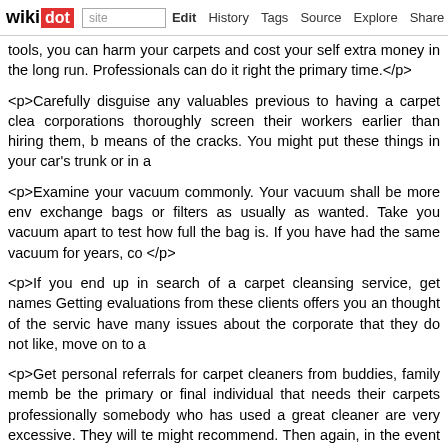wikidot — site Edit History Tags Source Explore Share on Twitter
tools, you can harm your carpets and cost your self extra money in the long run. Professionals can do it right the primary time.</p>
<p>Carefully disguise any valuables previous to having a carpet cleaner come. Many corporations thoroughly screen their workers earlier than hiring them, but not all of them slip by means of the cracks. You might put these things in your car's trunk or in a
<p>Examine your vacuum commonly. Your vacuum shall be more env... exchange bags or filters as usually as wanted. Take you vacuum apart to test how full the bag is. If you have had the same vacuum for years, co...</p>
<p>If you end up in search of a carpet cleansing service, get names from... Getting evaluations from these clients offers you an thought of the servi... have many issues about the corporate that they do not like, move on to a
<p>Get personal referrals for carpet cleaners from buddies, family memb... be the primary or final individual that needs their carpets professionally... somebody who has used a great cleaner are very excessive. They will te... might recommend. Then again, in the event that they didn't like the clean... from them.</p>
<p>When choosing a carpet cleansing enterprise to return into your hous... Get Dirty Floors? You then Need help With Carpet Cleaning! from sev... selection. Make sure that the carpet cleansing service comes with a sa... executed to your satisfaction the primary time.</p>
<p>If you're going to hire a company to clean the carpets in your home,... like Angie's Checklist that offers reviews of firms like this. This web site c... to price up evaluations. In addition they don't endorse any unbiased...